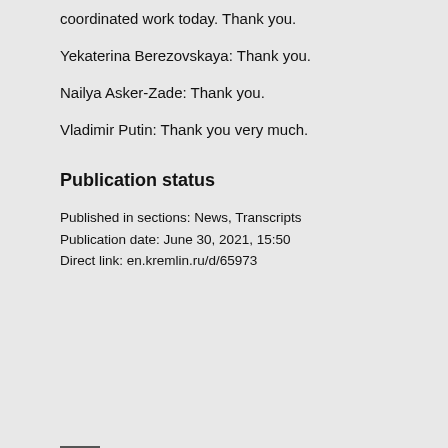coordinated work today. Thank you.
Yekaterina Berezovskaya: Thank you.
Nailya Asker-Zade: Thank you.
Vladimir Putin: Thank you very much.
Publication status
Published in sections: News, Transcripts
Publication date: June 30, 2021, 15:50
Direct link: en.kremlin.ru/d/65973